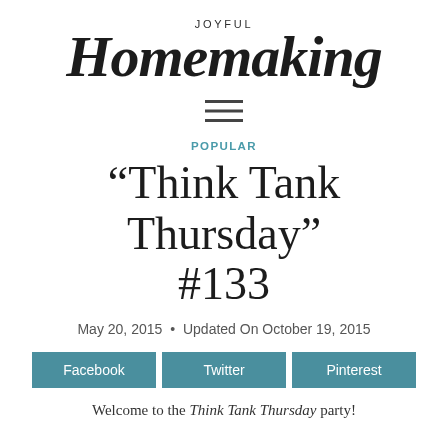JOYFUL Homemaking
[Figure (other): Hamburger/menu icon — three horizontal lines]
POPULAR
“Think Tank Thursday” #133
May 20, 2015 • Updated On October 19, 2015
Facebook
Twitter
Pinterest
Welcome to the Think Tank Thursday party!